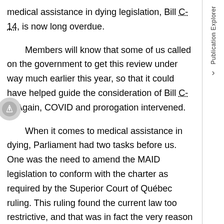medical assistance in dying legislation, Bill C-14, is now long overdue.
Members will know that some of us called on the government to get this review under way much earlier this year, so that it could have helped guide the consideration of Bill C-7. Again, COVID and prorogation intervened.
When it comes to medical assistance in dying, Parliament had two tasks before us. One was the need to amend the MAID legislation to conform with the charter as required by the Superior Court of Québec ruling. This ruling found the current law too restrictive, and that was in fact the very reason New Democrats voted against Bill C-14 at the original vote.